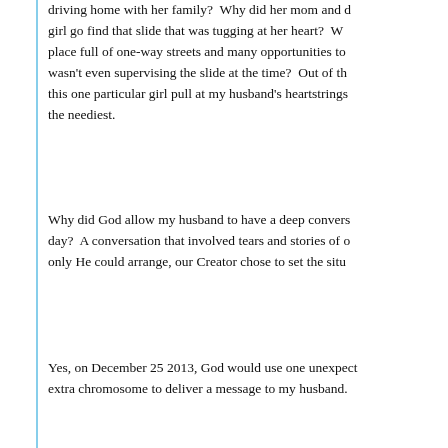driving home with her family? Why did her mom and d girl go find that slide that was tugging at her heart? W place full of one-way streets and many opportunities to wasn't even supervising the slide at the time? Out of th this one particular girl pull at my husband's heartstrings the neediest.
Why did God allow my husband to have a deep convers day? A conversation that involved tears and stories of o only He could arrange, our Creator chose to set the situ
Yes, on December 25 2013, God would use one unexpect extra chromosome to deliver a message to my husband.